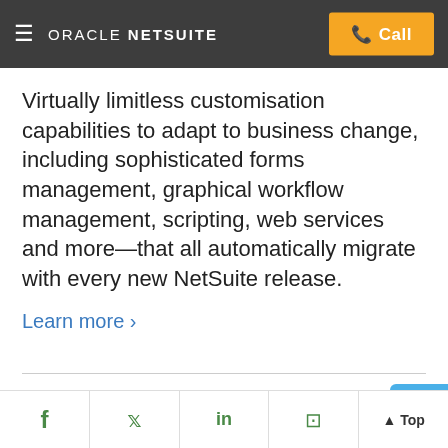ORACLE NETSUITE | Call
Virtually limitless customisation capabilities to adapt to business change, including sophisticated forms management, graphical workflow management, scripting, web services and more—that all automatically migrate with every new NetSuite release.
Learn more >
Resources
f  Twitter  in  Flipboard  Top